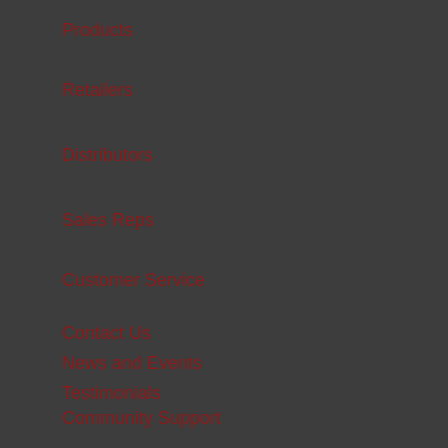Products
Retailers
Distributors
Sales Reps
Customer Service
Contact Us
News and Events
Testimonials
Community Support
Product Warranty
Intellectual Property Rights
Counterfeits
FAQs